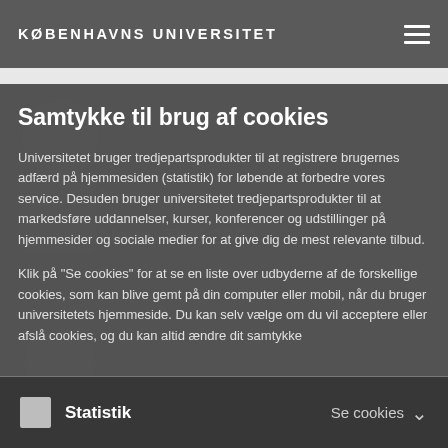KØBENHAVNS UNIVERSITET
Samtykke til brug af cookies
Universitetet bruger tredjepartsprodukter til at registrere brugernes adfærd på hjemmesiden (statistik) for løbende at forbedre vores service. Desuden bruger universitetet tredjepartsprodukter til at markedsføre uddannelser, kurser, konferencer og udstillinger på hjemmesider og sociale medier for at give dig de mest relevante tilbud.
Klik på "Se cookies" for at se en liste over udbyderne af de forskellige cookies, som kan blive gemt på din computer eller mobil, når du bruger universitetets hjemmeside. Du kan selv vælge om du vil acceptere eller afslå cookies, og du kan altid ændre dit samtykke
Statistik	Se cookies